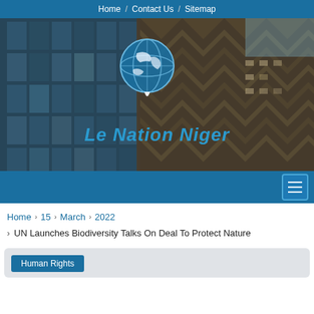Home / Contact Us / Sitemap
[Figure (photo): Hero banner with city building background and Le Nation Niger logo with globe icon]
Navigation menu bar with hamburger icon
Home > 15 > March > 2022
> UN Launches Biodiversity Talks On Deal To Protect Nature
Human Rights